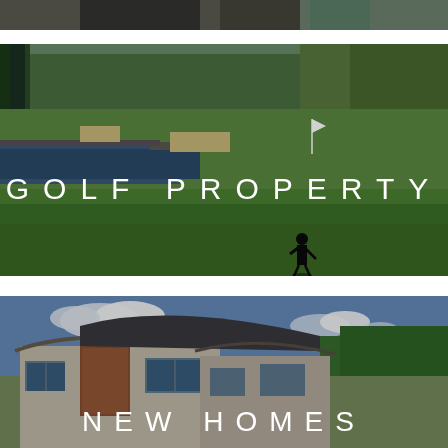[Figure (photo): Partial strip at top of page showing two people, one in dark clothing on left and one with green/teal top on right, appears to be a lifestyle or sport scene]
[Figure (photo): Golf course photo showing a green fairway with a water hazard, sand bunkers, trees in background, and a silhouette of a golfer swinging a club in the foreground. White text overlay reads GOLF PROPERTY.]
[Figure (photo): Modern residential home with contemporary architecture, wooden cladding accents, multiple windows, blue sky with clouds and green trees in background. White text overlay reads NEW HOMES.]